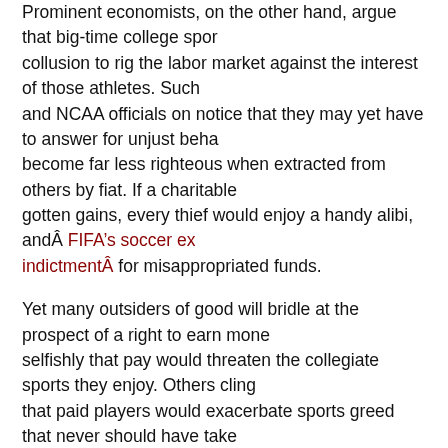Prominent economists, on the other hand, argue that big-time college sports involve collusion to rig the labor market against the interest of those athletes. Such and NCAA officials on notice that they may yet have to answer for unjust beha become far less righteous when extracted from others by fiat. If a charitable d gotten gains, every thief would enjoy a handy alibi, andÂ FIFAâ€™s soccer ex indictmentÂ for misappropriated funds.
Yet many outsiders of good will bridle at the prospect of a right to earn mone selfishly that pay would threaten the collegiate sports they enjoy. Others cling that paid players would exacerbate sports greed that never should have take place. College leaders promote both these apprehensions by classifying the athleteâ€ of compound nature, fused together for a highly specialized purpo that no one can be eligible for pay and remain â€œfirstâ€ or â€œprimarilyâ student be an employee. This mantra defies reality along with common sens at UCLA while working on the set of Spider-Man 3, no one called him a â€œs income so that he could focus on schoolwork.
Franco is unusual as a public figure, but multiple roles abound on every camp undergraduates in the United States, 4 million have full-time jobs on the side, time in every conceivable occupation. All these students and their teachers a